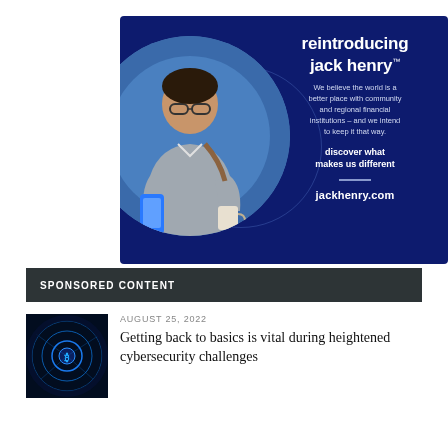[Figure (illustration): Jack Henry advertisement on dark navy background. Left side shows a circular photo of a man with glasses looking at his phone. Right side has white text: 'reintroducing jack henry™', tagline about community and regional financial institutions, 'discover what makes us different', and 'jackhenry.com'.]
SPONSORED CONTENT
AUGUST 25, 2022
Getting back to basics is vital during heightened cybersecurity challenges